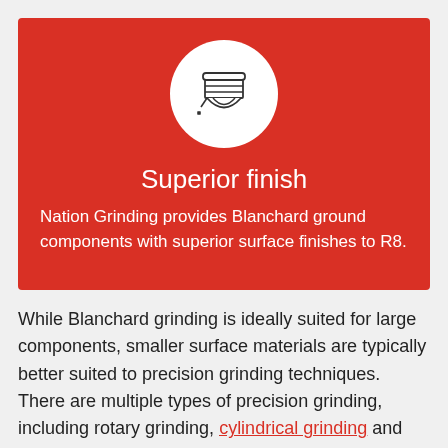[Figure (illustration): White circle on red background containing a line-art icon of a grinding wheel/disc with sparks]
Superior finish
Nation Grinding provides Blanchard ground components with superior surface finishes to R8.
While Blanchard grinding is ideally suited for large components, smaller surface materials are typically better suited to precision grinding techniques. There are multiple types of precision grinding, including rotary grinding, cylindrical grinding and horizontal spindle surface grinding.